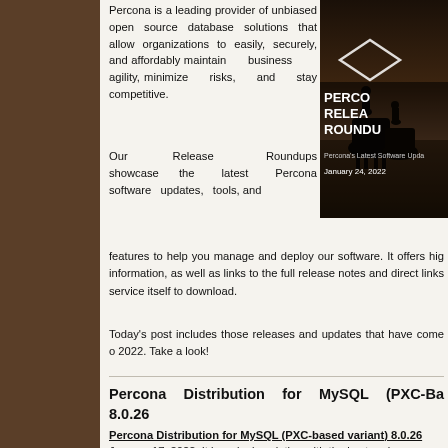[Figure (photo): Percona Release Roundup banner image with cowboys on horses at dusk, showing text 'PERCONA RELEASE ROUNDUP', 'Percona's Latest Software Updates', 'January 24, 2022']
Percona is a leading provider of unbiased open source database solutions that allow organizations to easily, securely, and affordably maintain business agility, minimize risks, and stay competitive.
Our Release Roundups showcase the latest Percona software updates, tools, and features to help you manage and deploy our software. It offers highlights and release information, as well as links to the full release notes and direct links to the Percona service itself to download.
Today's post includes those releases and updates that have come out since January 17, 2022. Take a look!
Percona Distribution for MySQL (PXC-Based variant) 8.0.26
Percona Distribution for MySQL (PXC-based variant) 8.0.26 was released on January 17, 2022. It is a single solution with the best and most critical enterprise components from the MySQL open source community, designed and tested to work together. This release is focused on the Percona XtraDB Cluster